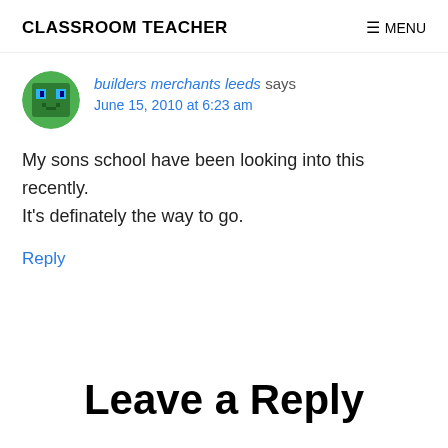CLASSROOM TEACHER
builders merchants leeds says
June 15, 2010 at 6:23 am
My sons school have been looking into this recently. It's definately the way to go.
Reply
Leave a Reply